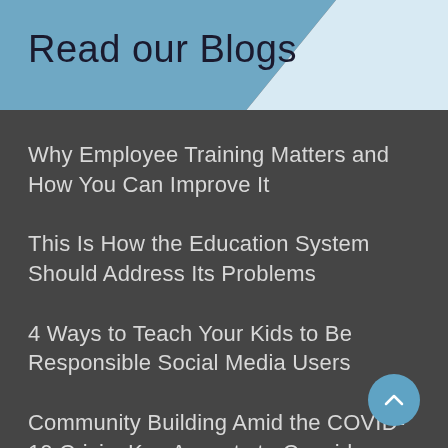Read our Blogs
Why Employee Training Matters and How You Can Improve It
This Is How the Education System Should Address Its Problems
4 Ways to Teach Your Kids to Be Responsible Social Media Users
Community Building Amid the COVID-19 Crisis: Key Aspects to Consider